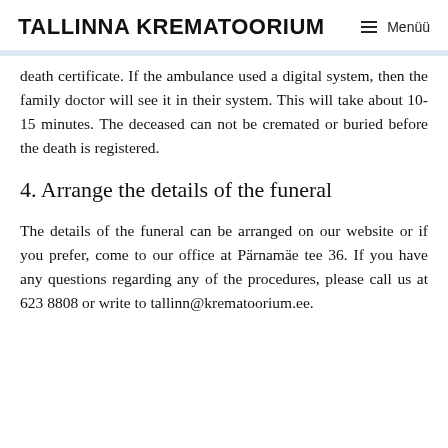TALLINNA KREMATOORIUM   Menüü
death certificate. If the ambulance used a digital system, then the family doctor will see it in their system. This will take about 10-15 minutes. The deceased can not be cremated or buried before the death is registered.
4. Arrange the details of the funeral
The details of the funeral can be arranged on our website or if you prefer, come to our office at Pärnamäe tee 36. If you have any questions regarding any of the procedures, please call us at 623 8808 or write to tallinn@krematoorium.ee.